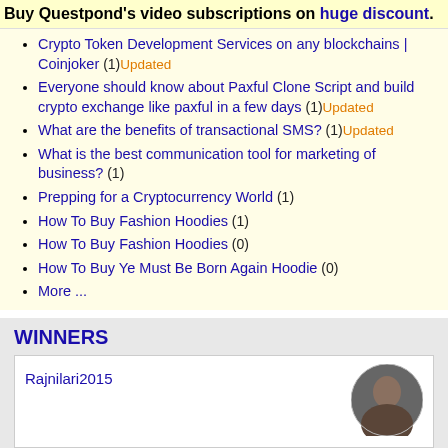Buy Questpond's video subscriptions on huge discount.
Crypto Token Development Services on any blockchains | Coinjoker  (1) Updated
Everyone should know about Paxful Clone Script and build crypto exchange like paxful in a few days  (1) Updated
What are the benefits of transactional SMS?  (1) Updated
What is the best communication tool for marketing of business?  (1)
Prepping for a Cryptocurrency World  (1)
How To Buy Fashion Hoodies  (1)
How To Buy Fashion Hoodies  (0)
How To Buy Ye Must Be Born Again Hoodie  (0)
More ...
WINNERS
Rajnilari2015